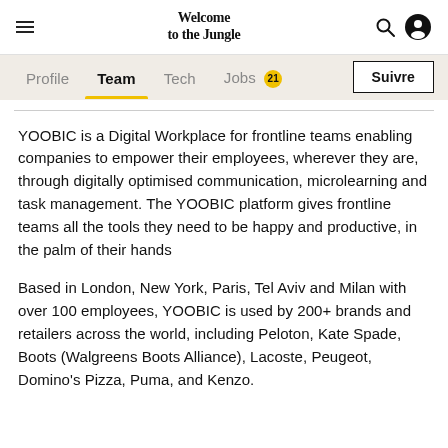Welcome to the Jungle — navigation bar with hamburger menu, logo, search and user icons
Profile  Team  Tech  Jobs 21  Suivre
YOOBIC is a Digital Workplace for frontline teams enabling companies to empower their employees, wherever they are, through digitally optimised communication, microlearning and task management. The YOOBIC platform gives frontline teams all the tools they need to be happy and productive, in the palm of their hands
Based in London, New York, Paris, Tel Aviv and Milan with over 100 employees, YOOBIC is used by 200+ brands and retailers across the world, including Peloton, Kate Spade, Boots (Walgreens Boots Alliance), Lacoste, Peugeot, Domino's Pizza, Puma, and Kenzo.